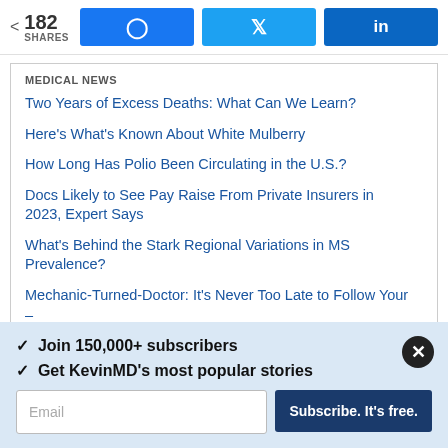182 SHARES | Facebook | Twitter | LinkedIn
MEDICAL NEWS
Two Years of Excess Deaths: What Can We Learn?
Here's What's Known About White Mulberry
How Long Has Polio Been Circulating in the U.S.?
Docs Likely to See Pay Raise From Private Insurers in 2023, Expert Says
What's Behind the Stark Regional Variations in MS Prevalence?
Mechanic-Turned-Doctor: It's Never Too Late to Follow Your –
✓  Join 150,000+ subscribers
✓  Get KevinMD's most popular stories
Email  Subscribe. It's free.